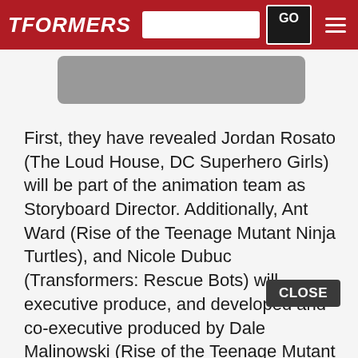TFORMERS
[Figure (screenshot): Gray banner/image placeholder below navigation bar]
First, they have revealed Jordan Rosato (The Loud House, DC Superhero Girls) will be part of the animation team as Storyboard Director. Additionally, Ant Ward (Rise of the Teenage Mutant Ninja Turtles), and Nicole Dubuc (Transformers: Rescue Bots) will executive produce, and developed and co-executive produced by Dale Malinowski (Rise of the Teenage Mutant Ninja Turtles). Produced by Nickelodeon Animation Studio and animated by loan Creative Studios